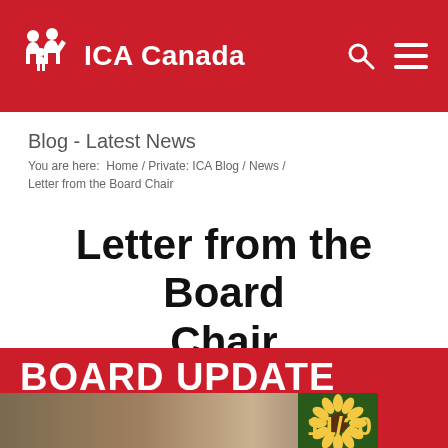ICA Canada
Blog - Latest News
You are here:  Home / Private: ICA Blog / News / Letter from the Board Chair
Letter from the Board Chair
November 11, 2020  /  in News  /  by ICA Canada
[Figure (photo): Board Update banner image with red background showing 'BOARD UPDATE' text in white bold letters and '11/20' in yellow, with a photo strip showing people and a sunflower graphic at the bottom]